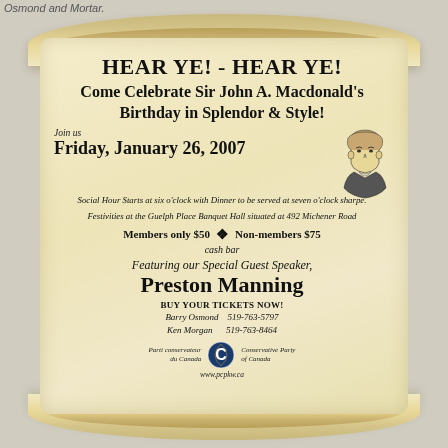Osmond and Mortar.
HEAR YE! - HEAR YE!
Come Celebrate Sir John A. Macdonald's Birthday in Splendor & Style!
Join us
Friday, January 26, 2007
[Figure (illustration): Portrait illustration of Sir John A. Macdonald]
Social Hour Starts at six o'clock with Dinner to be served at seven o'clock sharpe.
Festivities at the Guelph Place Banquet Hall situated at 492 Michener Road
Members only $50   ❖   Non-members $75
cash bar
Featuring our Special Guest Speaker,
Preston Manning
BUY YOUR TICKETS NOW!
Barry Osmond   519-763-5797
Ken Morgan     519-763-8464
[Figure (logo): Conservative Party of Canada logo with text: Parti conservateur du Canada / Conservative Party of Canada]
www.pcpkw.ca